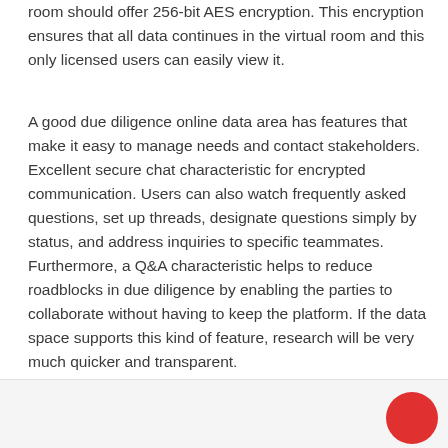room should offer 256-bit AES encryption. This encryption ensures that all data continues in the virtual room and this only licensed users can easily view it.
A good due diligence online data area has features that make it easy to manage needs and contact stakeholders. Excellent secure chat characteristic for encrypted communication. Users can also watch frequently asked questions, set up threads, designate questions simply by status, and address inquiries to specific teammates. Furthermore, a Q&A characteristic helps to reduce roadblocks in due diligence by enabling the parties to collaborate without having to keep the platform. If the data space supports this kind of feature, research will be very much quicker and transparent.